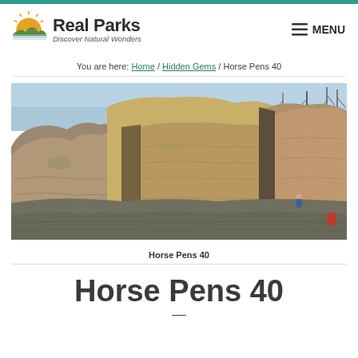Real Parks — Discover Natural Wonders
You are here: Home / Hidden Gems / Horse Pens 40
[Figure (photo): Rocky sandstone boulders and cliff formations at Horse Pens 40, with a person visible near the base of the rocks and bare trees in the background]
Horse Pens 40
Horse Pens 40